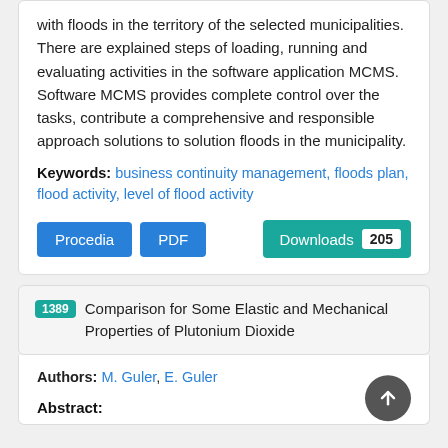with floods in the territory of the selected municipalities. There are explained steps of loading, running and evaluating activities in the software application MCMS. Software MCMS provides complete control over the tasks, contribute a comprehensive and responsible approach solutions to solution floods in the municipality.
Keywords: business continuity management, floods plan, flood activity, level of flood activity
Procedia  PDF  Downloads 205
1389 Comparison for Some Elastic and Mechanical Properties of Plutonium Dioxide
Authors: M. Guler, E. Guler
Abstract: